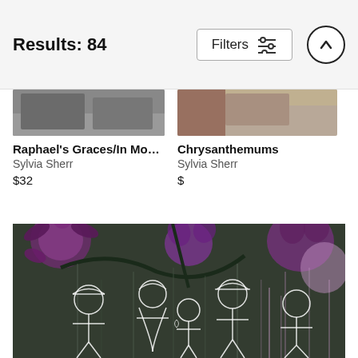Results: 84 | Filters
Raphael's Graces/In Modern T...
Sylvia Sherr
$32
Chrysanthemums
Sylvia Sherr
$
[Figure (photo): Large artwork photo showing human figures outlined in white against a dark background with purple flowers (chrysanthemums), painted in a monochrome style with purple/pink color accents.]